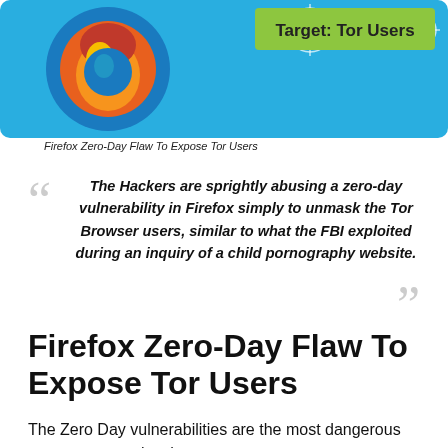[Figure (illustration): Banner image showing Firefox logo on blue background with crosshair target graphic and text 'Target: Tor Users']
Firefox Zero-Day Flaw To Expose Tor Users
The Hackers are sprightly abusing a zero-day vulnerability in Firefox simply to unmask the Tor Browser users, similar to what the FBI exploited during an inquiry of a child pornography website.
Firefox Zero-Day Flaw To Expose Tor Users
The Zero Day vulnerabilities are the most dangerous program or service that you can